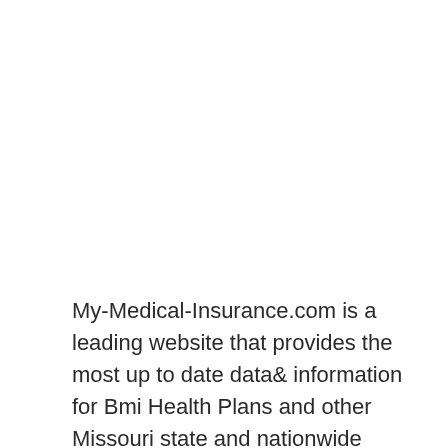My-Medical-Insurance.com is a leading website that provides the most up to date data& information for Bmi Health Plans and other Missouri state and nationwide medical insurance information. We are constantly working to ensure we provide you the best